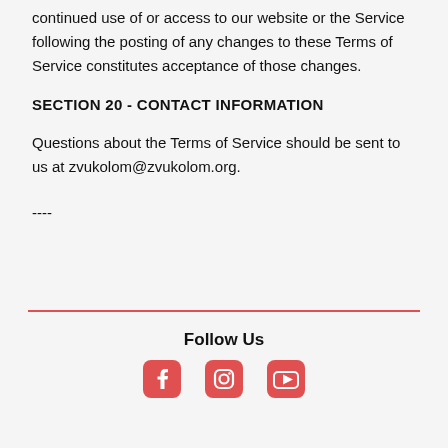continued use of or access to our website or the Service following the posting of any changes to these Terms of Service constitutes acceptance of those changes.
SECTION 20 - CONTACT INFORMATION
Questions about the Terms of Service should be sent to us at zvukolom@zvukolom.org.
----
Follow Us